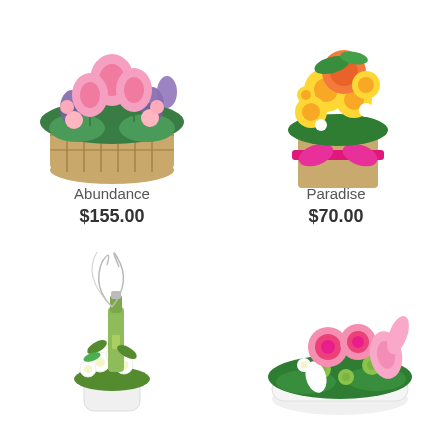[Figure (photo): Pink and purple flower arrangement in a wicker basket with lilies, irises, and carnations]
[Figure (photo): Yellow and orange flower arrangement in a burlap bag with a pink ribbon, featuring gerbera daisies and chrysanthemums]
Abundance
$155.00
Paradise
$70.00
[Figure (photo): Tall white floral arrangement with green stems and a champagne bottle in a white rectangular vase]
[Figure (photo): Pink roses and lily arrangement in a white bowl with green chrysanthemums and dark foliage]